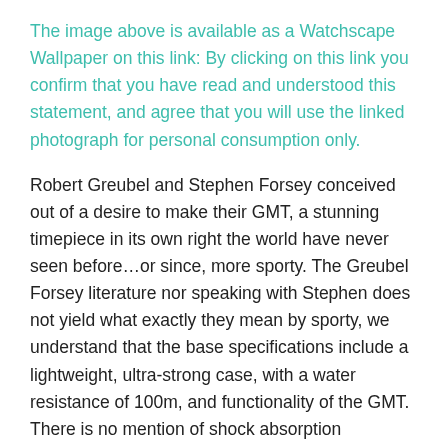The image above is available as a Watchscape Wallpaper on this link: By clicking on this link you confirm that you have read and understood this statement, and agree that you will use the linked photograph for personal consumption only.
Robert Greubel and Stephen Forsey conceived out of a desire to make their GMT, a stunning timepiece in its own right the world have never seen before…or since, more sporty. The Greubel Forsey literature nor speaking with Stephen does not yield what exactly they mean by sporty, we understand that the base specifications include a lightweight, ultra-strong case, with a water resistance of 100m, and functionality of the GMT. There is no mention of shock absorption capability of the watch.